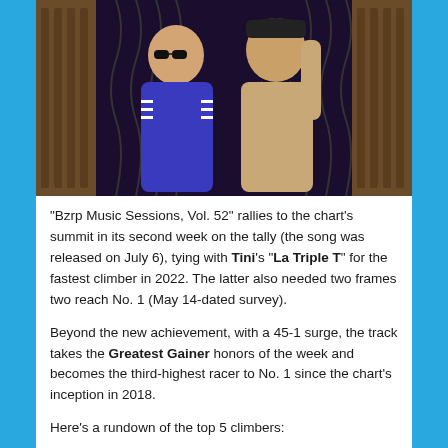[Figure (photo): Two people posing in a music studio setting. One wearing a blue Adidas tracksuit with arms crossed and sunglasses, the other in a beige/tan sweatshirt with arm raised, wearing a dark cap. Background shows acoustic panels.]
“Bzrp Music Sessions, Vol. 52” rallies to the chart’s summit in its second week on the tally (the song was released on July 6), tying with Tini’s “La Triple T” for the fastest climber in 2022. The latter also needed two frames two reach No. 1 (May 14-dated survey).
Beyond the new achievement, with a 45-1 surge, the track takes the Greatest Gainer honors of the week and becomes the third-highest racer to No. 1 since the chart’s inception in 2018.
Here’s a rundown of the top 5 climbers: